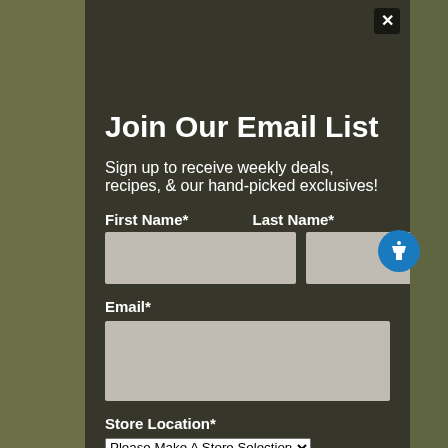Join Our Email List
Sign up to receive weekly deals, recipes, & our hand-picked exclusives!
First Name*
Last Name*
Email*
Store Location*
Please Make A Store Selection